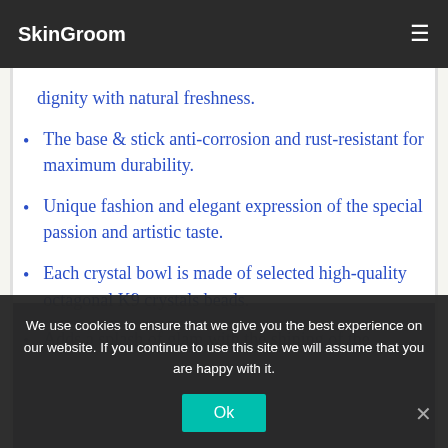SkinGroom
dignity with natural freshness.
The base & stick anti-corrosion and rust-resistant for maximum durability.
Unique fashion and elegant expression of the special passion and artistic taste.
Each crystal bowl is made of selected high-quality octagonal K9 crystals beads.
Adds a splash of glam with the shining of the
We use cookies to ensure that we give you the best experience on our website. If you continue to use this site we will assume that you are happy with it.